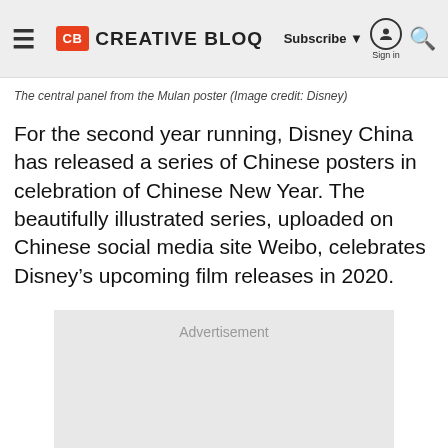CB CREATIVE BLOQ | Subscribe | Sign in
The central panel from the Mulan poster (Image credit: Disney)
For the second year running, Disney China has released a series of Chinese posters in celebration of Chinese New Year. The beautifully illustrated series, uploaded on Chinese social media site Weibo, celebrates Disney’s upcoming film releases in 2020.
[Figure (other): Advertisement placeholder box with grey background]